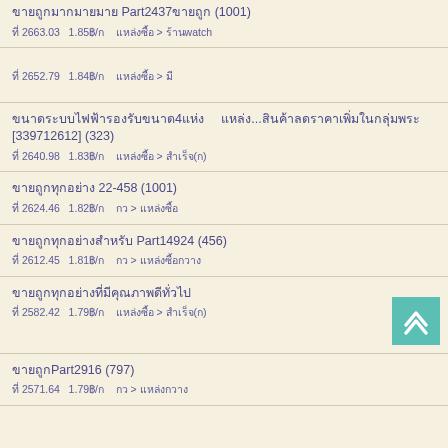ขายถูกมากมายมาย Part2437ขายถูก (1001)
ที่ 2663.03   1.85฿/ก   แหล่งซื้อ > ร้านwatch
ที่ 2652.79   1.84฿/ก   แหล่งซื้อ > มี
ขนาดระบบไฟฟ้ารองรับขนาด4แห่ง   แหล่ง...สินค้าลดราคาเพิ่มในกลุ่มพระ [339712612] (323)
ที่ 2640.98   1.83฿/ก   แหล่งซื้อ > สำเร็จ(ก)
ขายถูกทุกอย่าง 22-458 (1001)
ที่ 2624.46   1.82฿/ก   กวาง > แหล่งซื้อ
ขายถูกทุกอย่างสำหรับ Part14924 (456)
ที่ 2612.45   1.81฿/ก   กว > แหล่งซื้อกวาง
ขายถูกทุกอย่างที่มีคุณภาพดีทั่วไป
ที่ 2582.42   1.79฿/ก   แหล่งซื้อ > สำเร็จ(ก)
ขายถูกPart2916 (797)
ที่ 2571.64   1.79฿/ก   กว > แหล่งกวาง